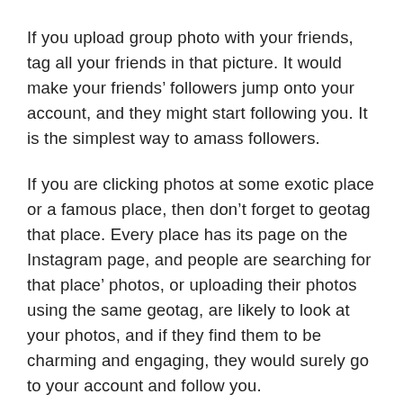If you upload group photo with your friends, tag all your friends in that picture. It would make your friends' followers jump onto your account, and they might start following you. It is the simplest way to amass followers.
If you are clicking photos at some exotic place or a famous place, then don't forget to geotag that place. Every place has its page on the Instagram page, and people are searching for that place' photos, or uploading their photos using the same geotag, are likely to look at your photos, and if they find them to be charming and engaging, they would surely go to your account and follow you.